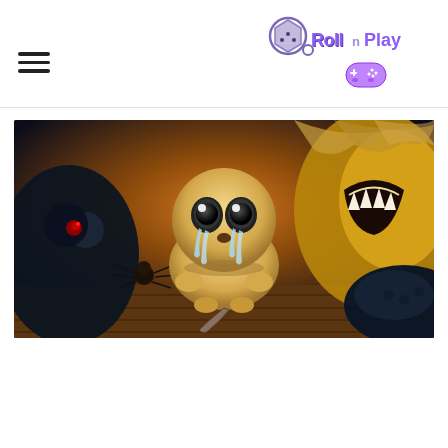Roll n Play — navigation header with hamburger menu and logo
[Figure (illustration): Binding of Isaac style game artwork: a crying cartoon character with large eyes and tears, surrounded by grotesque monsters in dark dungeon setting with warm orange lighting]
VIDEOGIOCHI